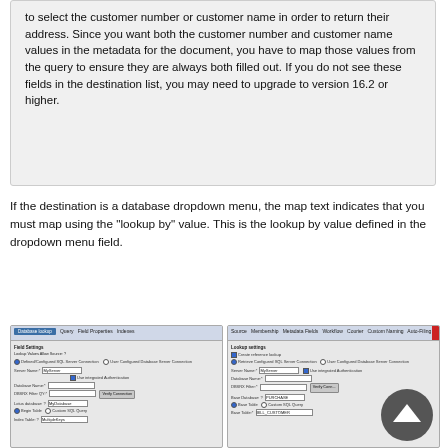to select the customer number or customer name in order to return their address. Since you want both the customer number and customer name values in the metadata for the document, you have to map those values from the query to ensure they are always both filled out. If you do not see these fields in the destination list, you may need to upgrade to version 16.2 or higher.
If the destination is a database dropdown menu, the map text indicates that you must map using the "lookup by" value. This is the lookup by value defined in the dropdown menu field.
[Figure (screenshot): Two side-by-side screenshots of database configuration dialog panels showing field settings and lookup settings for a database connection.]